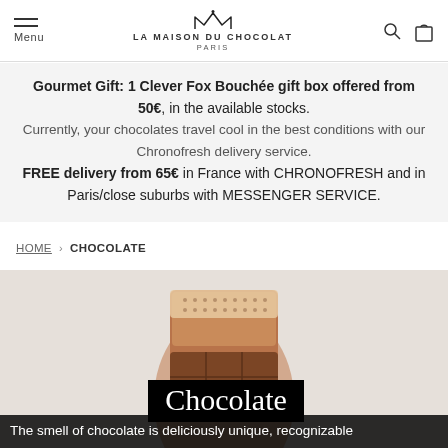Menu | LA MAISON DU CHOCOLAT PARIS
Gourmet Gift: 1 Clever Fox Bouchée gift box offered from 50€, in the available stocks. Currently, your chocolates travel cool in the best conditions with our Chronofresh delivery service. FREE delivery from 65€ in France with CHRONOFRESH and in Paris/close suburbs with MESSENGER SERVICE.
HOME > CHOCOLATE
[Figure (photo): Close-up of chocolate confections held by a hand, with a black banner overlaid reading 'Chocolate' in white serif font, and a white/beige background.]
The smell of chocolate is deliciously unique, recognizable